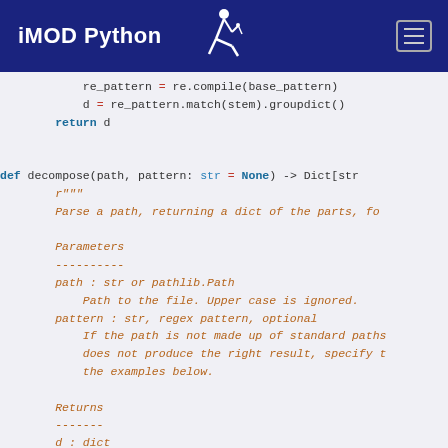iMOD Python
[Figure (logo): iMOD Python logo with stylized figure]
re_pattern = re.compile(base_pattern)
            d = re_pattern.match(stem).groupdict()
        return d
def decompose(path, pattern: str = None) -> Dict[str
        r"""
        Parse a path, returning a dict of the parts, fo

        Parameters
        ----------
        path : str or pathlib.Path
            Path to the file. Upper case is ignored.
        pattern : str, regex pattern, optional
            If the path is not made up of standard paths
            does not produce the right result, specify t
            the examples below.

        Returns
        -------
        d : dict
            Dictionary with name of variable and dimensi

        Examples